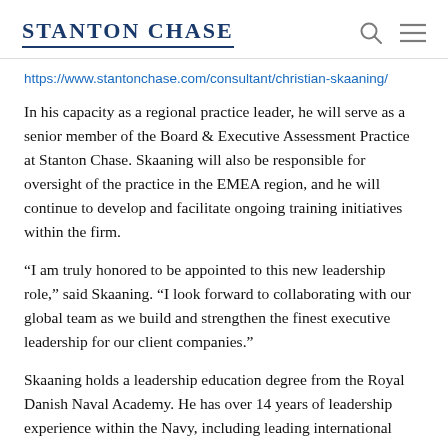STANTON CHASE
https://www.stantonchase.com/consultant/christian-skaaning/
In his capacity as a regional practice leader, he will serve as a senior member of the Board & Executive Assessment Practice at Stanton Chase. Skaaning will also be responsible for oversight of the practice in the EMEA region, and he will continue to develop and facilitate ongoing training initiatives within the firm.
“I am truly honored to be appointed to this new leadership role,” said Skaaning. “I look forward to collaborating with our global team as we build and strengthen the finest executive leadership for our client companies.”
Skaaning holds a leadership education degree from the Royal Danish Naval Academy. He has over 14 years of leadership experience within the Navy, including leading international